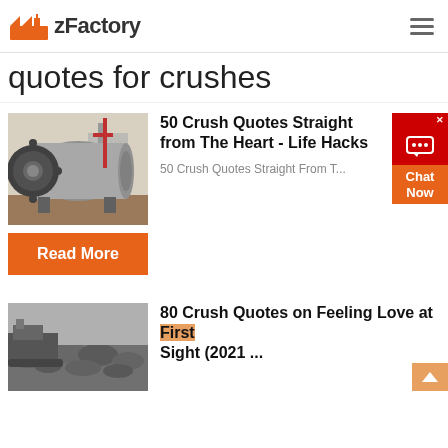zFactory
quotes for crushes
[Figure (photo): Industrial ball mill machine in a factory warehouse]
50 Crush Quotes Straight from The Heart - Life Hacks
50 Crush Quotes Straight From T...
Read More
[Figure (photo): Aerial view of crushed rock or aggregate material pile]
80 Crush Quotes on Feeling Love at First Sight (2021 ...